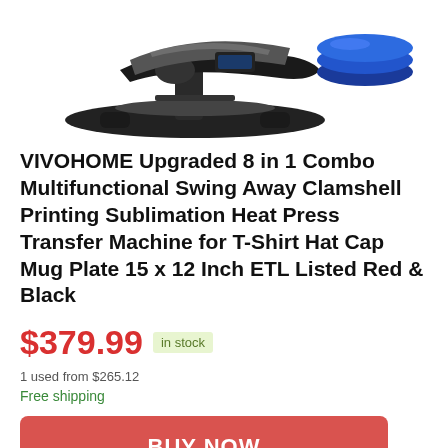[Figure (photo): Product photo showing a black heat press machine and a blue round puck/platen accessory on a white background]
VIVOHOME Upgraded 8 in 1 Combo Multifunctional Swing Away Clamshell Printing Sublimation Heat Press Transfer Machine for T-Shirt Hat Cap Mug Plate 15 x 12 Inch ETL Listed Red & Black
$379.99  in stock
1 used from $265.12
Free shipping
BUY NOW